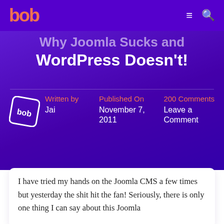bob (logo) — navigation menu and search icons
Why Joomla Sucks and WordPress Doesn't!
Written by Jai | Published On November 7, 2011 | 200 Comments Leave a Comment
I have tried my hands on the Joomla CMS a few times but yesterday the shit hit the fan! Seriously, there is only one thing I can say about this Joomla